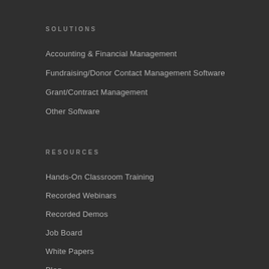SOLUTIONS
Accounting & Financial Management
Fundraising/Donor Contact Management Software
Grant/Contract Management
Other Software
RESOURCES
Hands-On Classroom Training
Recorded Webinars
Recorded Demos
Job Board
White Papers
Blog